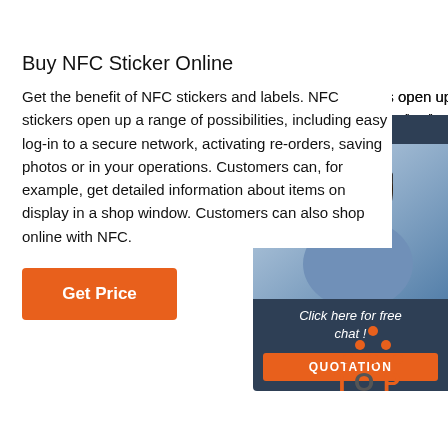Buy NFC Sticker Online
Get the benefit of NFC stickers and labels. NFC stickers open up a range of possibilities, including easy log-in to a secure network, activating re-orders, saving photos or in your operations. Customers can, for example, get detailed information about items on display in a shop window. Customers can also shop online with NFC.
[Figure (illustration): Orange Get Price button]
[Figure (illustration): 24/7 Online chat widget with woman wearing headset, 'Click here for free chat!' text and orange QUOTATION button]
[Figure (logo): TOP logo with orange dots arranged in triangle above the word TOP in orange/gray text]